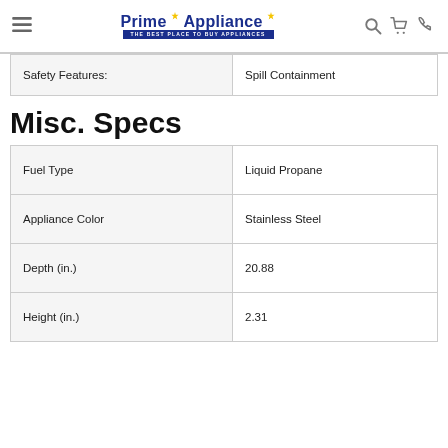Prime Appliance — THE BEST PLACE TO BUY APPLIANCES
| Safety Features: | Spill Containment |
Misc. Specs
| Fuel Type | Liquid Propane |
| Appliance Color | Stainless Steel |
| Depth (in.) | 20.88 |
| Height (in.) | 2.31 |